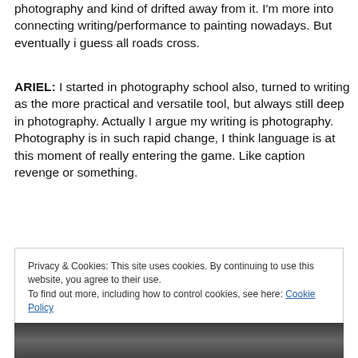photography and kind of drifted away from it. I'm more into connecting writing/performance to painting nowadays. But eventually i guess all roads cross.
ARIEL: I started in photography school also, turned to writing as the more practical and versatile tool, but always still deep in photography. Actually I argue my writing is photography. Photography is in such rapid change, I think language is at this moment of really entering the game. Like caption revenge or something.
Privacy & Cookies: This site uses cookies. By continuing to use this website, you agree to their use.
To find out more, including how to control cookies, see here: Cookie Policy
[Figure (photo): Black and white photo strip at the bottom of the page]